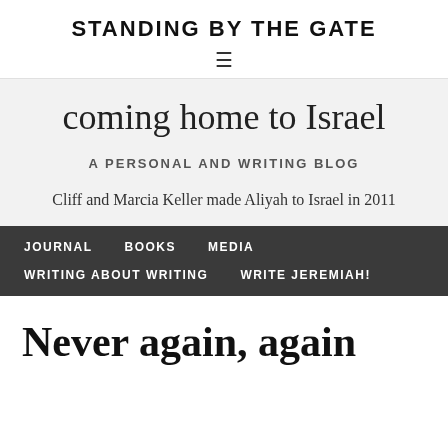STANDING BY THE GATE
coming home to Israel
A PERSONAL AND WRITING BLOG
Cliff and Marcia Keller made Aliyah to Israel in 2011
JOURNAL
BOOKS
MEDIA
WRITING ABOUT WRITING
WRITE JEREMIAH!
Never again, again